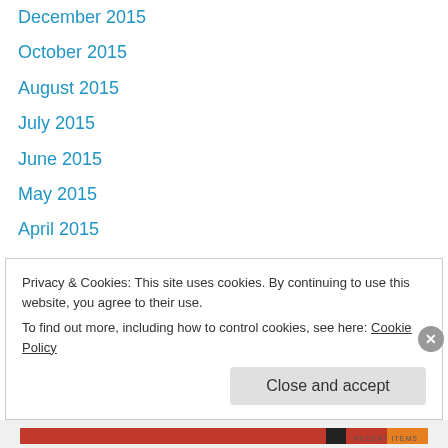December 2015
October 2015
August 2015
July 2015
June 2015
May 2015
April 2015
March 2015
February 2015
January 2015
December 2014
October 2014
September 2014
Privacy & Cookies: This site uses cookies. By continuing to use this website, you agree to their use. To find out more, including how to control cookies, see here: Cookie Policy